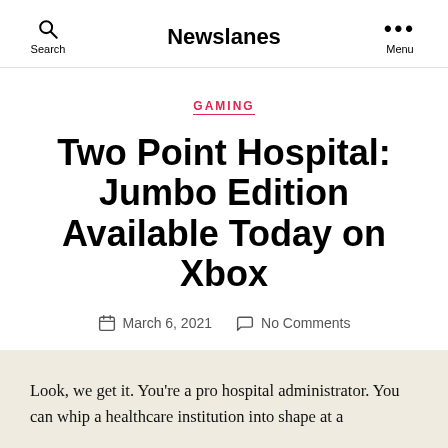Newslanes
GAMING
Two Point Hospital: Jumbo Edition Available Today on Xbox
March 6, 2021   No Comments
Look, we get it. You're a pro hospital administrator. You can whip a healthcare institution into shape at a